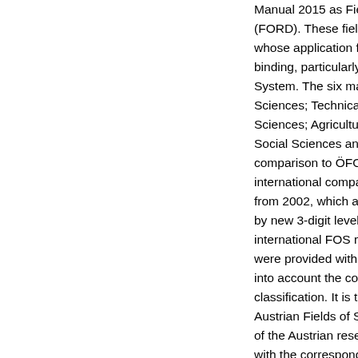Manual 2015 as Fields of Research and Development (FORD). These fields are adjusted to national needs, whose application for international comparisons is binding, particularly within the European Statistical System. The six major Fields of Science: Natural Sciences; Technical Sciences; Human Medicine, Health Sciences; Agricultural Sciences, Veterinary Medicine; Social Sciences and Humanities remained unchanged in comparison to ÖFOS 2002. In order to ensure international comparability, the previous 2-digit levels from 2002, which are no longer applicable, were replaced by new 3-digit levels (groups) according to the international FOS respectively FORD. These 3-digit levels were provided with further sub-groups (4-digit), taking into account the comments of the international classification. It is therefore feasible that the Austrian Fields of Science adapt to national priorities of the Austrian research activities. The research areas with the corresponding 6-digits in alphabetical order serves as a description of the fields of activity for research projects and/or for the coverage of the scientific activities of a statistical unit in the research and development surveys. (Current revision s